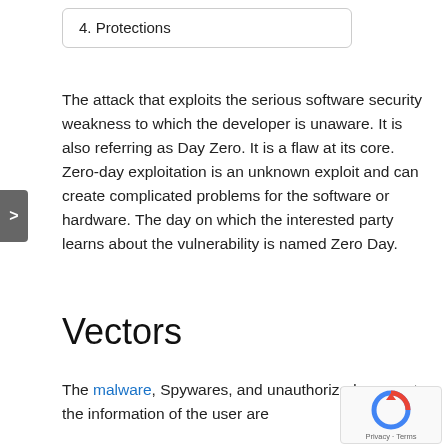4. Protections
The attack that exploits the serious software security weakness to which the developer is unaware. It is also referring as Day Zero. It is a flaw at its core. Zero-day exploitation is an unknown exploit and can create complicated problems for the software or hardware. The day on which the interested party learns about the vulnerability is named Zero Day.
Vectors
The malware, Spywares, and unauthorized access to the information of the user are